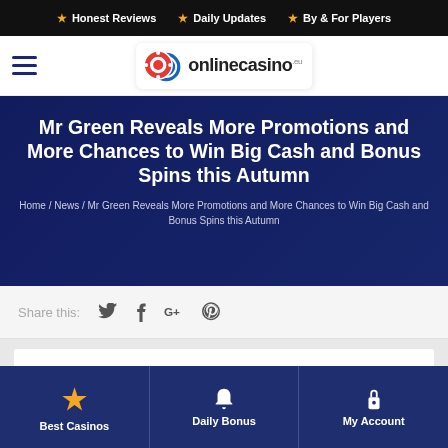★ Honest Reviews  ★ Daily Updates  ★ By & For Players
[Figure (logo): OnlineCasino.eu logo with casino chips icon]
Mr Green Reveals More Promotions and More Chances to Win Big Cash and Bonus Spins this Autumn
Home / News / Mr Green Reveals More Promotions and More Chances to Win Big Cash and Bonus Spins this Autumn
Share this:
Best Casinos   Daily Bonus   My Account